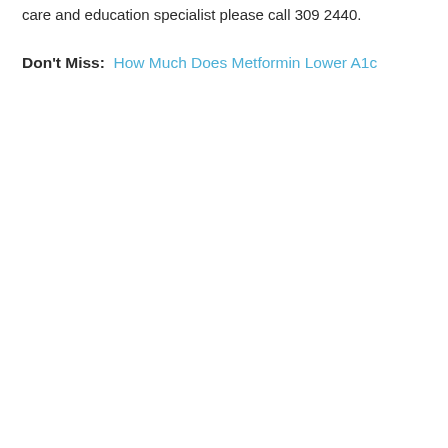care and education specialist please call 309 2440.
Don't Miss:  How Much Does Metformin Lower A1c